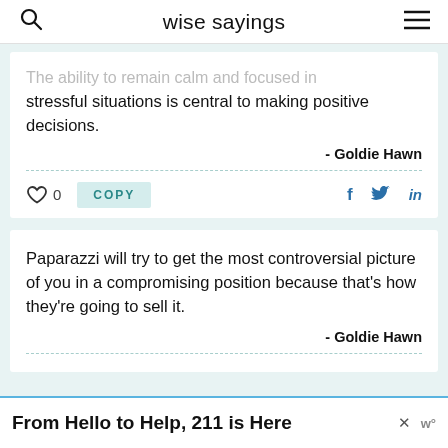wise sayings
The ability to remain calm and focused in stressful situations is central to making positive decisions.
- Goldie Hawn
0  COPY
Paparazzi will try to get the most controversial picture of you in a compromising position because that's how they're going to sell it.
- Goldie Hawn
From Hello to Help, 211 is Here